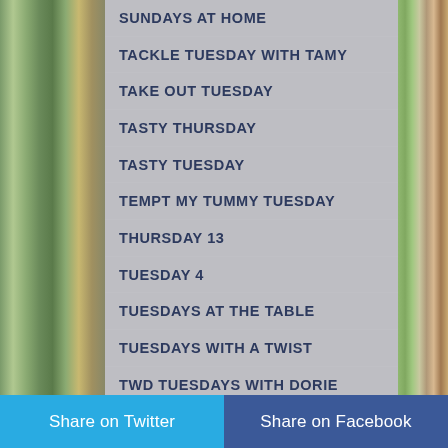SUNDAYS AT HOME
TACKLE TUESDAY WITH TAMY
TAKE OUT TUESDAY
TASTY THURSDAY
TASTY TUESDAY
TEMPT MY TUMMY TUESDAY
THURSDAY 13
TUESDAY 4
TUESDAYS AT THE TABLE
TUESDAYS WITH A TWIST
TWD TUESDAYS with DORIE
UNCONSCIOUS MUTTERINGS
Share on Twitter  Share on Facebook